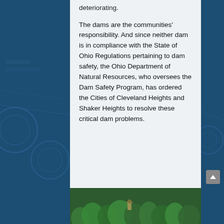[Figure (photo): Dark blue aerial background showing water treatment facility with circular settling tanks on the sides]
deteriorating.
The dams are the communities' responsibility. And since neither dam is in compliance with the State of Ohio Regulations pertaining to dam safety, the Ohio Department of Natural Resources, who oversees the Dam Safety Program, has ordered the Cities of Cleveland Heights and Shaker Heights to resolve these critical dam problems.
[Figure (photo): Aerial photograph showing a forested area with trees and some structures visible, likely depicting the area near the dams in Cleveland Heights or Shaker Heights.]